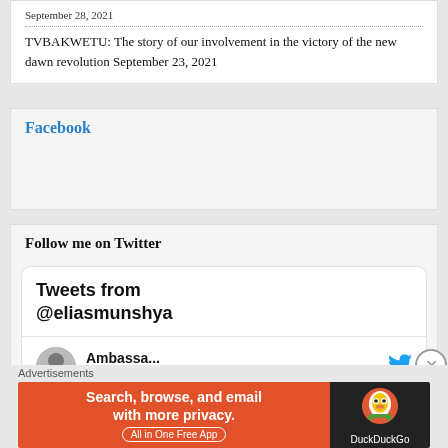September 28, 2021
TVBAKWETU: The story of our involvement in the victory of the new dawn revolution September 23, 2021
Facebook
Follow me on Twitter
Tweets from @eliasmunshya
Ambassa... @elia... · 7h
Advertisements
Search, browse, and email with more privacy. All in One Free App